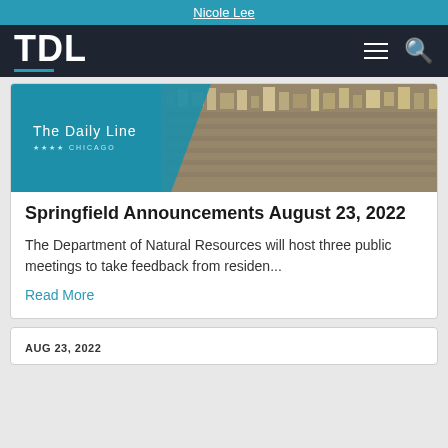Nicole Lee
TDL
[Figure (screenshot): The Daily Line Chicago aerial city banner image with teal overlay on the left side showing 'The Daily Line' logo and four stars above 'CHICAGO', with an aerial photograph of a city on the right.]
Springfield Announcements August 23, 2022
The Department of Natural Resources will host three public meetings to take feedback from residen...
Read More
AUG 23, 2022